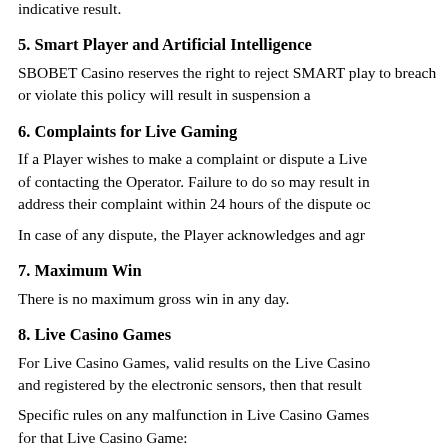indicative result.
5. Smart Player and Artificial Intelligence
SBOBET Casino reserves the right to reject SMART pla... to breach or violate this policy will result in suspension a...
6. Complaints for Live Gaming
If a Player wishes to make a complaint or dispute a Live... of contacting the Operator. Failure to do so may result in... address their complaint within 24 hours of the dispute oc...
In case of any dispute, the Player acknowledges and agr...
7. Maximum Win
There is no maximum gross win in any day.
8. Live Casino Games
For Live Casino Games, valid results on the Live Casino... and registered by the electronic sensors, then that result...
Specific rules on any malfunction in Live Casino Games... for that Live Casino Game: